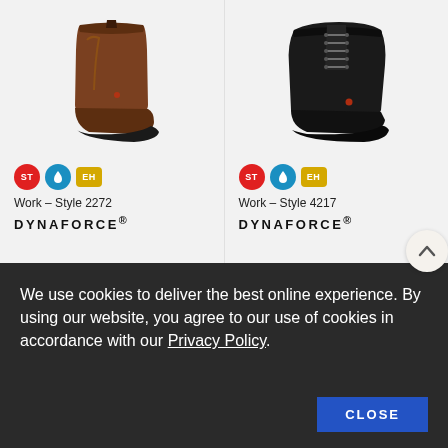[Figure (photo): Brown leather pull-on work boot (Wellington style) - Style 2272 Dynaforce]
[Figure (photo): Black lace-up work boot - Style 4217 Dynaforce]
Work - Style 2272
DYNAFORCE®
Work - Style 4217
DYNAFORCE®
We use cookies to deliver the best online experience. By using our website, you agree to our use of cookies in accordance with our Privacy Policy.